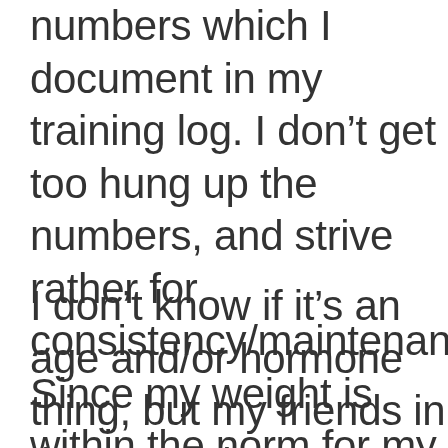numbers which I document in my training log. I don't get too hung up the numbers, and strive rather for consistency/maintenance. Since my weight is within the norm for my he and build, I'm good with it.
I don't know if it's an age and/or hormone thing, but my friends in th 40's and 50's seem to struggle with